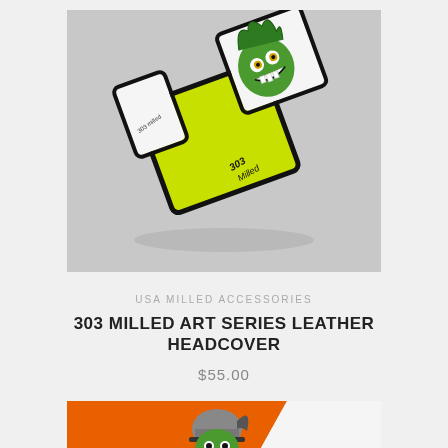[Figure (photo): Photo of a 303 Milled Art Series leather headcover with yellow and white panels, featuring a green monster/creature illustration with the text '303 Milled' on it, displayed on a grey background.]
USA MILLED ACCESSORIES
303 MILLED ART SERIES LEATHER HEADCOVER
$55.00
[Figure (photo): Partial photo of another headcover with orange and white panels, featuring a green character wearing a grey helmet, partially visible at the bottom of the page.]